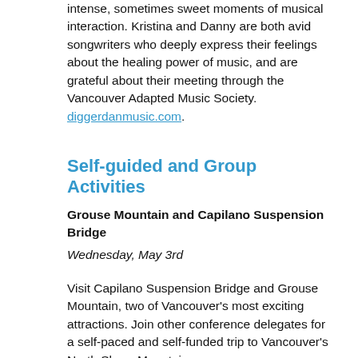intense, sometimes sweet moments of musical interaction. Kristina and Danny are both avid songwriters who deeply express their feelings about the healing power of music, and are grateful about their meeting through the Vancouver Adapted Music Society. diggerdanmusic.com.
Self-guided and Group Activities
Grouse Mountain and Capilano Suspension Bridge
Wednesday, May 3rd
Visit Capilano Suspension Bridge and Grouse Mountain, two of Vancouver's most exciting attractions. Join other conference delegates for a self-paced and self-funded trip to Vancouver's North Shore Mountains.